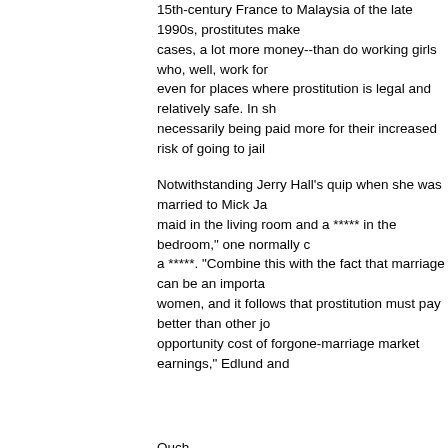15th-century France to Malaysia of the late 1990s, prostitutes make--in many cases, a lot more money--than do working girls who, well, work for a living, even for places where prostitution is legal and relatively safe. In short, they are necessarily being paid more for their increased risk of going to jail or
Notwithstanding Jerry Hall's quip when she was married to Mick Jagger ("a maid in the living room and a ***** in the bedroom," one normally can't marry a *****. "Combine this with the fact that marriage can be an important option for women, and it follows that prostitution must pay better than other jobs, by the opportunity cost of forgone-marriage market earnings," Edlund and
Ouch.
Another zinger: "This begs the question of why married men go to prostitutes, buying from their wives, who presumably will be low-cost providers (since they can sell nonreproductive sex without compromising their marriage)." Rolls off the tongue: "Happy Valentine's Day" more than "low-cost provider."
Of course, it's easy to pour cold water on some of the assumptions behind Edlund-Korn's mathematical model. But these so-called "stylized facts" are not meant to mirror human behavior; they don't necessarily pretend to mirror it.
In particular, the assumption that there is no "third way" between working and marrying is problematic, if not outright offensive: "The third alternative, working and not marrying, can be ruled out, since we assume that the only downside of marrying for a woman is the forgone opportunity for prostitution."
Be sure to let all your married friends know what they're missing.